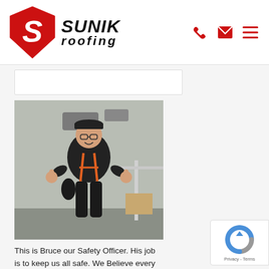[Figure (logo): Sunik Roofing logo — red diamond/shield with white S, bold italic SUNIK ROOFING text]
[Figure (photo): A man (Bruce the Safety Officer) wearing black clothing and an orange safety harness, giving two thumbs up, standing in an industrial building interior]
This is Bruce our Safety Officer. His job is to keep us all safe. We Believe every worker has the right to go home at the end of